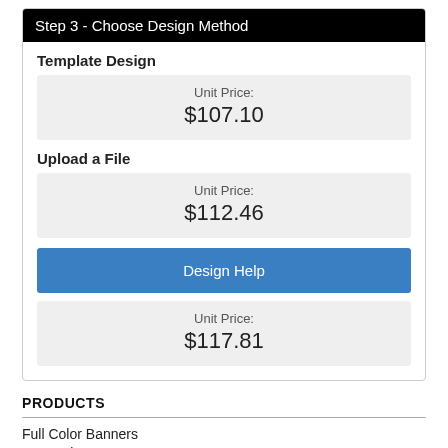Step 3 - Choose Design Method
Template Design
Unit Price: $107.10
Upload a File
Unit Price: $112.46
Design Help
Unit Price: $117.81
PRODUCTS
Full Color Banners
Text Only Banners